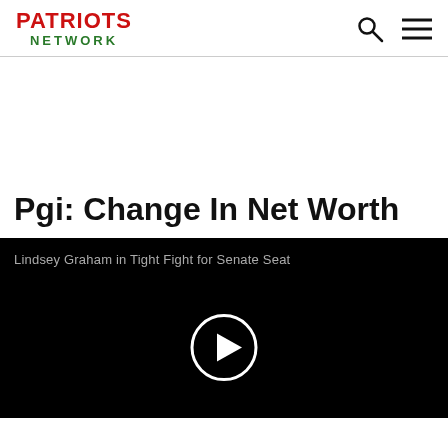PATRIOTS NETWORK
Pgi: Change In Net Worth
[Figure (screenshot): Video thumbnail with black background showing title 'Lindsey Graham in Tight Fight for Senate Seat' and a circular play button in the center.]